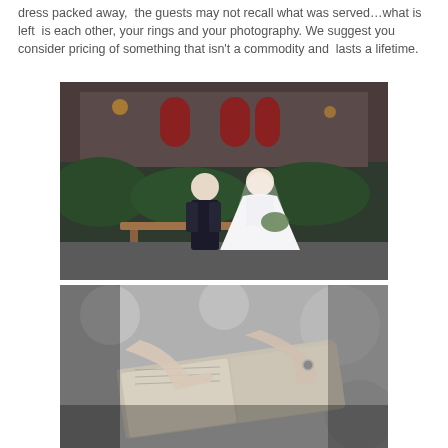dress packed away,  the guests may not recall what was served…what is left  is each other, your rings and your photography. We suggest you consider pricing of something that isn't a commodity and  lasts a lifetime.
[Figure (photo): Wedding couple seated on a bench outdoors in front of a building with red doors and lush greenery. The groom is in a dark suit and the bride is in a large white ball gown with a veil.]
[Figure (photo): Black and white close-up photo of hands holding an open book or album, with a ring visible, soft bokeh background.]